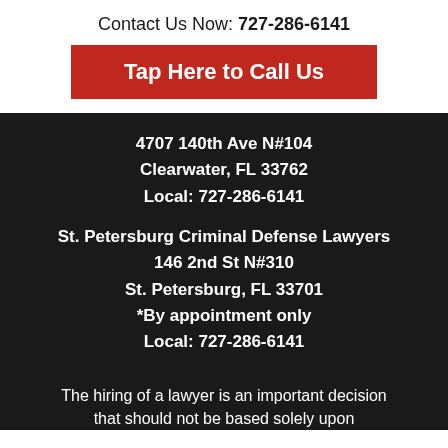Contact Us Now: 727-286-6141
Tap Here to Call Us
4707 140th Ave N#104
Clearwater, FL 33762
Local: 727-286-6141
St. Petersburg Criminal Defense Lawyers
146 2nd St N#310
St. Petersburg, FL 33701
*By appointment only
Local: 727-286-6141
The hiring of a lawyer is an important decision that should not be based solely upon